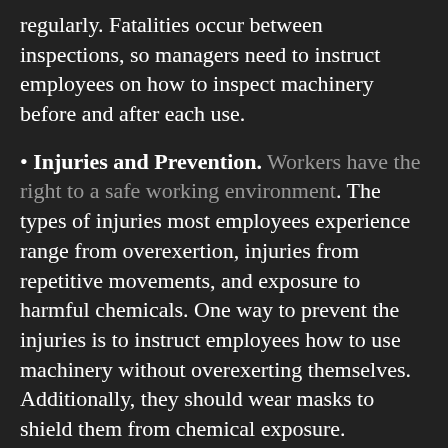regularly. Fatalities occur between inspections, so managers need to instruct employees on how to inspect machinery before and after each use.
• Injuries and Prevention. Workers have the right to a safe working environment. The types of injuries most employees experience range from overexertion, injuries from repetitive movements, and exposure to harmful chemicals. One way to prevent the injuries is to instruct employees how to use machinery without overexerting themselves. Additionally, they should wear masks to shield them from chemical exposure.
Workplace injuries can cause a lot of damage to a business's reputation and finances, and create years of work for your human resources department, so make sure to follow these tips to ensure that your business is secure and safe for